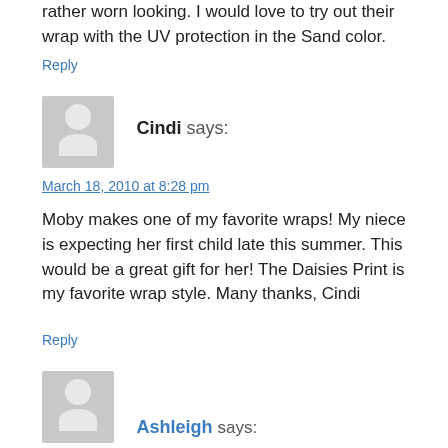rather worn looking. I would love to try out their wrap with the UV protection in the Sand color.
Reply
[Figure (illustration): Gray placeholder avatar icon with silhouette of a person]
Cindi says:
March 18, 2010 at 8:28 pm
Moby makes one of my favorite wraps! My niece is expecting her first child late this summer. This would be a great gift for her! The Daisies Print is my favorite wrap style. Many thanks, Cindi
Reply
[Figure (illustration): Gray placeholder avatar icon with silhouette of a person]
Ashleigh says: